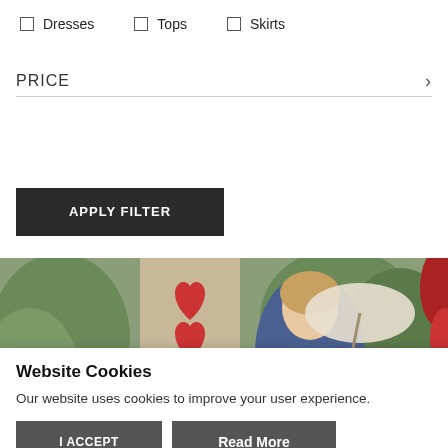☐ Dresses   ☐ Tops   ☐ Skirts
PRICE
APPLY FILTER
[Figure (photo): A young girl holding an umbrella outdoors with decorative heart topiaries and green hedges in the background]
Website Cookies
Our website uses cookies to improve your user experience.
I ACCEPT   Read More